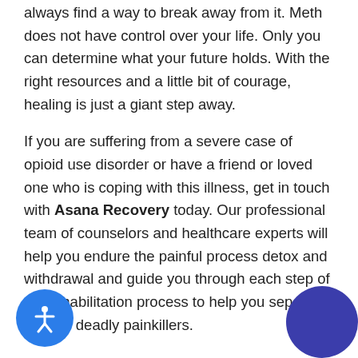always find a way to break away from it. Meth does not have control over your life. Only you can determine what your future holds. With the right resources and a little bit of courage, healing is just a giant step away.
If you are suffering from a severe case of opioid use disorder or have a friend or loved one who is coping with this illness, get in touch with Asana Recovery today. Our professional team of counselors and healthcare experts will help you endure the painful process detox and withdrawal and guide you through each step of the rehabilitation process to help you separate you[rself from th]ese deadly painkillers.